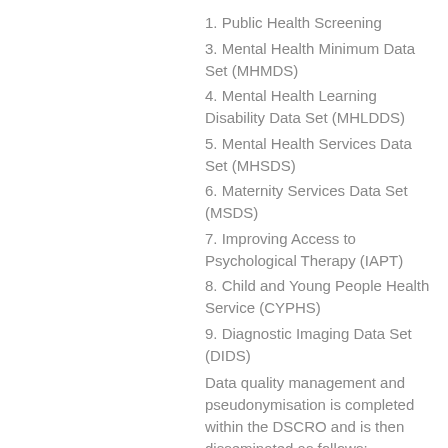1. Public Health Screening
3. Mental Health Minimum Data Set (MHMDS)
4. Mental Health Learning Disability Data Set (MHLDDS)
5. Mental Health Services Data Set (MHSDS)
6. Maternity Services Data Set (MSDS)
7. Improving Access to Psychological Therapy (IAPT)
8. Child and Young People Health Service (CYPHS)
9. Diagnostic Imaging Data Set (DIDS)
Data quality management and pseudonymisation is completed within the DSCRO and is then disseminated as follows:
Data Processor 1 – Midlands and Lancashire Commissioning Support Unit
1. Pseudonymised SUS+, Local Provider data, Mental Health data (MHSDS, MHMDS, MHLDDS), Maternity data (MSDS), Improving Access...